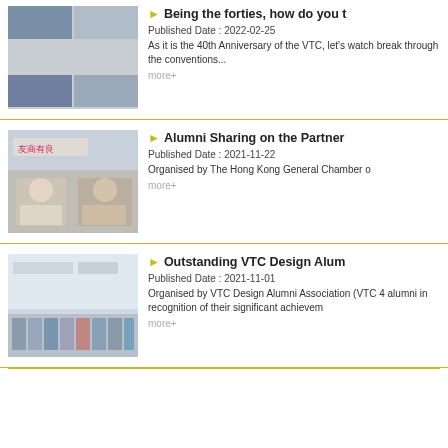[Figure (photo): Collage of multiple photos showing people in various settings]
Being the forties, how do you t
Published Date : 2022-02-25
As it is the 40th Anniversary of the VTC, let's watch break through the conventions...
more+
[Figure (photo): Two women seated in front of a banner showing 友商有良 Partner Employer Award & Brand]
Alumni Sharing on the Partner
Published Date : 2021-11-22
Organised by The Hong Kong General Chamber o
more+
[Figure (photo): Group of people in masks standing in front of a design exhibition backdrop]
Outstanding VTC Design Alum
Published Date : 2021-11-01
Organised by VTC Design Alumni Association (VTC 4 alumni in recognition of their significant achievem
more+